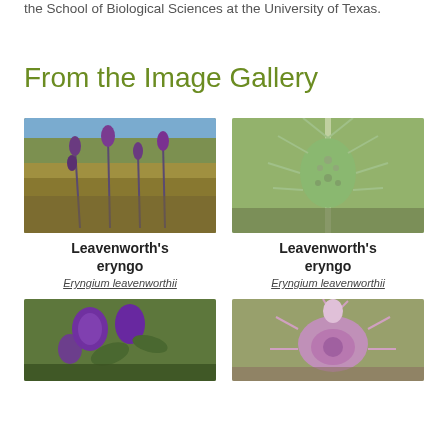the School of Biological Sciences at the University of Texas.
From the Image Gallery
[Figure (photo): Photo of Leavenworth's eryngo plant in a field with purple flowers and yellow background vegetation]
Leavenworth's eryngo
Eryngium leavenworthii
[Figure (photo): Close-up photo of Leavenworth's eryngo flower head showing spiny blue-green bracts and purple thistle-like center]
Leavenworth's eryngo
Eryngium leavenworthii
[Figure (photo): Photo of Leavenworth's eryngo plant with purple spiky flowers in a field setting]
[Figure (photo): Close-up photo of Leavenworth's eryngo showing a prominent spiky purple flower head]